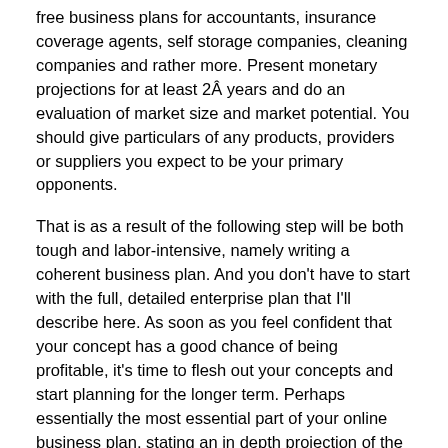free business plans for accountants, insurance coverage agents, self storage companies, cleaning companies and rather more. Present monetary projections for at least 2Â years and do an evaluation of market size and market potential. You should give particulars of any products, providers or suppliers you expect to be your primary opponents.
That is as a result of the following step will be both tough and labor-intensive, namely writing a coherent business plan. And you don't have to start with the full, detailed enterprise plan that I'll describe here. As soon as you feel confident that your concept has a good chance of being profitable, it's time to flesh out your concepts and start planning for the longer term. Perhaps essentially the most essential part of your online business plan, stating an in depth projection of the funds you'll require and how a lot revenue you anticipate annually once you're up and running, together with a gross sales forecast, money movement statements and your expected income and losses. That is merely a proof of what your advertising and marketing strategy is and the way you will execute it. Right here, you possibly can tackle how you intend to